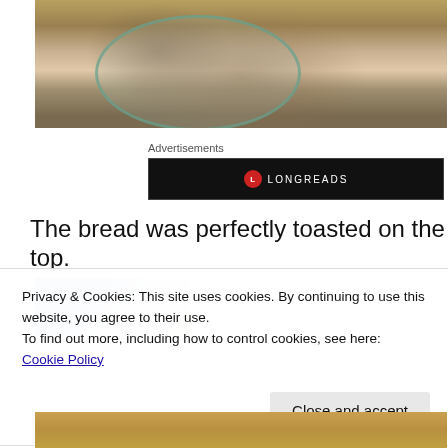[Figure (photo): A hand holding or mixing something in a glass bowl, viewed from above. Background has colorful elements.]
Advertisements
[Figure (logo): Longreads advertisement banner — black background with red circular L logo and LONGREADS text in white.]
The bread was perfectly toasted on the top.
[Figure (photo): Partial food photo showing blue container on left and orange/brown item on right.]
Privacy & Cookies: This site uses cookies. By continuing to use this website, you agree to their use.
To find out more, including how to control cookies, see here: Cookie Policy
Close and accept
[Figure (photo): Bottom strip of a food photo showing toasted/baked item.]